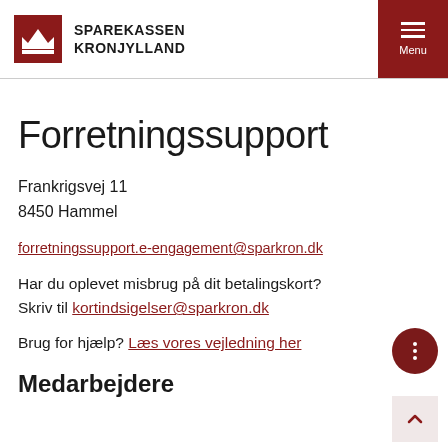SPAREKASSEN KRONJYLLAND
Forretningssupport
Frankrigsvej 11
8450 Hammel
forretningssupport.e-engagement@sparkron.dk
Har du oplevet misbrug på dit betalingskort? Skriv til kortindsigelser@sparkron.dk
Brug for hjælp? Læs vores vejledning her
Medarbejdere